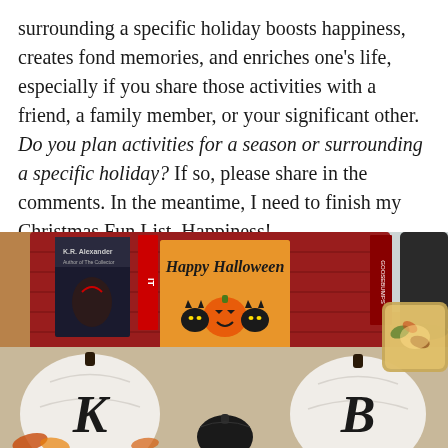surrounding a specific holiday boosts happiness, creates fond memories, and enriches one's life, especially if you share those activities with a friend, a family member, or your significant other. Do you plan activities for a season or surrounding a specific holiday? If so, please share in the comments. In the meantime, I need to finish my Christmas Fun List. Happiness!
[Figure (photo): A Halloween-themed display with two black cats and a jack-o-lantern on a greeting card reading 'Happy Happy Halloween', flanked by white pumpkins with K and B letters, a red basket with books including K.R. Alexander title, a black decorative item, and a candle in an autumn-themed holder. Small text on card reads 'Jack-o-lanterns make things bright every year on Halloween night...']